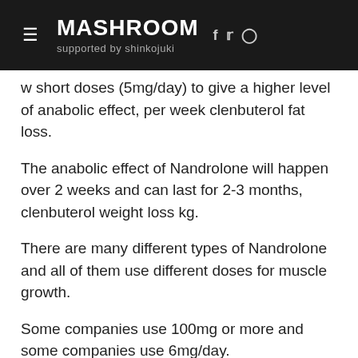MASHROOM supported by shinkojuki
w short doses (5mg/day) to give a higher level of anabolic effect, per week clenbuterol fat loss.
The anabolic effect of Nandrolone will happen over 2 weeks and can last for 2-3 months, clenbuterol weight loss kg.
There are many different types of Nandrolone and all of them use different doses for muscle growth.
Some companies use 100mg or more and some companies use 6mg/day.
It is important to choose the right brand Nandrolone for you by checking out the label, clenbuterol weight loss reddit.
Most stores also carry higher doses of